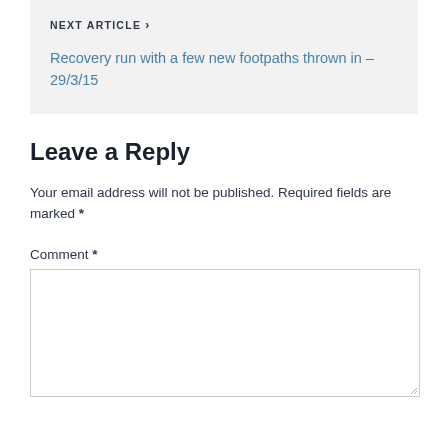NEXT ARTICLE ›
Recovery run with a few new footpaths thrown in – 29/3/15
Leave a Reply
Your email address will not be published. Required fields are marked *
Comment *